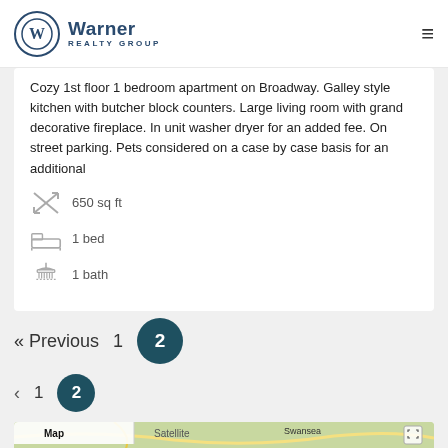Warner Realty Group
Cozy 1st floor 1 bedroom apartment on Broadway. Galley style kitchen with butcher block counters. Large living room with grand decorative fireplace. In unit washer dryer for an added fee. On street parking. Pets considered on a case by case basis for an additional
650 sq ft
1 bed
1 bath
« Previous  1  2
‹  1  2
[Figure (map): Google Map showing Swansea area with Map and Satellite tabs]